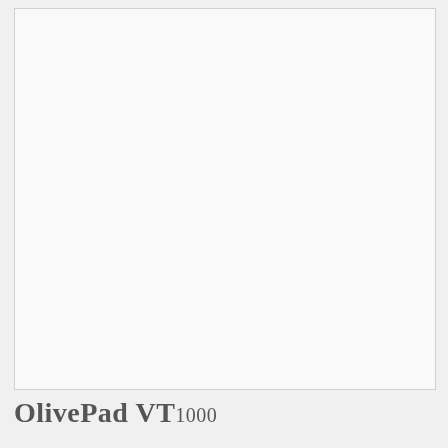[Figure (photo): Large blank/empty white image area with light border, likely a product photo placeholder for the OlivePad VT1000]
OlivePad VT1000